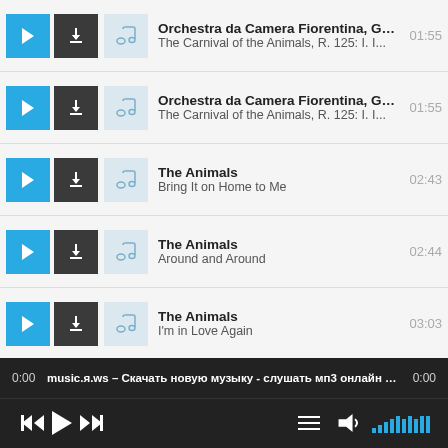Orchestra da Camera Fiorentina, Giu... | The Carnival of the Animals, R. 125: I. I... | 01:55
Orchestra da Camera Fiorentina, Giu... | The Carnival of the Animals, R. 125: I. I... | 01:55
The Animals | Bring It on Home to Me | 02:43
The Animals | Around and Around | 02:44
The Animals | I'm in Love Again | 03:03
Hanspeter Gmür, Southgerman Philh... | The Carnival of Animals: III. Wild Asses | 00:37
0:00  music.я.ws – Скачать новую музыку - слушать мп3 онлайн беcп.  0:00